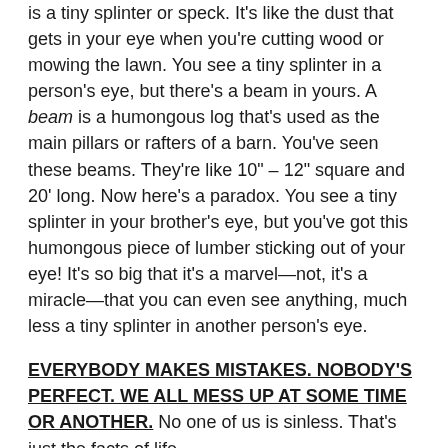is a tiny splinter or speck. It's like the dust that gets in your eye when you're cutting wood or mowing the lawn. You see a tiny splinter in a person's eye, but there's a beam in yours. A beam is a humongous log that's used as the main pillars or rafters of a barn. You've seen these beams. They're like 10" – 12" square and 20' long. Now here's a paradox. You see a tiny splinter in your brother's eye, but you've got this humongous piece of lumber sticking out of your eye! It's so big that it's a marvel—not, it's a miracle—that you can even see anything, much less a tiny splinter in another person's eye.
EVERYBODY MAKES MISTAKES. NOBODY'S PERFECT. WE ALL MESS UP AT SOME TIME OR ANOTHER. No one of us is sinless. That's just the facts of life.
1. SELF-RIGHTEOUSNESS BLINDS US. We're so